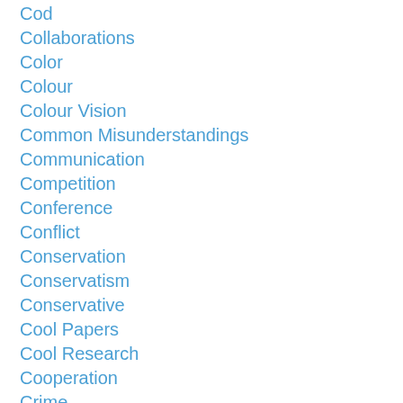Cod
Collaborations
Color
Colour
Colour Vision
Common Misunderstandings
Communication
Competition
Conference
Conflict
Conservation
Conservatism
Conservative
Cool Papers
Cool Research
Cooperation
Crime
Crows
Cuckoo
Dad Media
Dali...